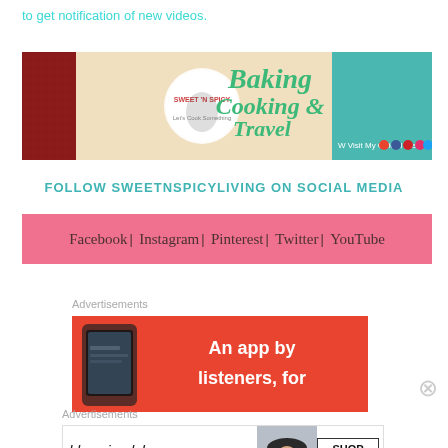to get notification of new videos.
[Figure (illustration): YouTube channel banner for Sweet N Spicy showing Baking Cooking & Travel with food images and social icons]
FOLLOW SWEETNSPICYLIVING ON SOCIAL MEDIA
Facebook | Instagram | Pinterest | Twitter | YouTube
Advertisements
[Figure (screenshot): Red advertisement banner with text 'An app by listeners, for' and a phone image]
Advertisements
[Figure (screenshot): Bloomingdales advertisement: View Today's Top Deals! with SHOP NOW button and woman in hat]